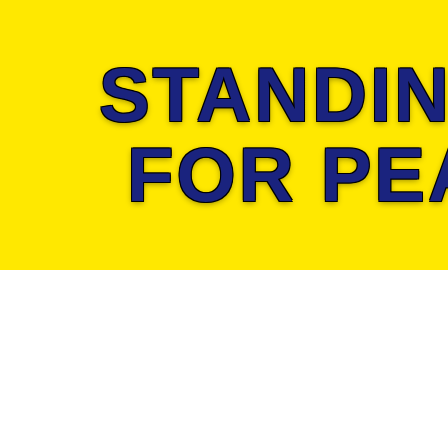[Figure (illustration): Yellow banner with large dark blue cracked/electric-style bold text reading 'STANDING FOR PEA' (truncated, continues off-page to the right)]
Main characteristics of Sochi
Track length - 5848 meters